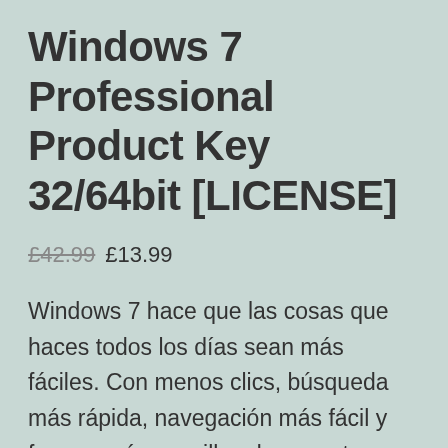Windows 7 Professional Product Key 32/64bit [LICENSE]
£42.99 £13.99
Windows 7 hace que las cosas que haces todos los días sean más fáciles. Con menos clics, búsqueda más rápida, navegación más fácil y formas más sencillas de conectarse, hay menos entre usted y lo que quiere hacer. Windows 7 está diseñado para mejorar el rendimiento de su PC, por lo que es más